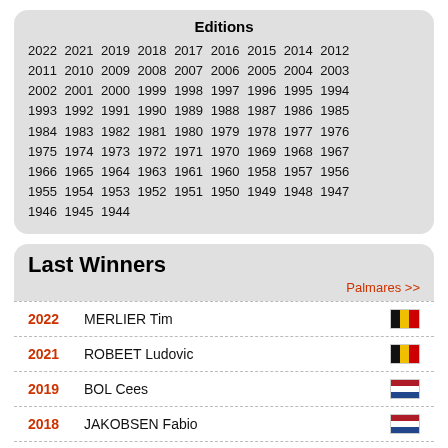Editions
2022 2021 2019 2018 2017 2016 2015 2014 2012 2011 2010 2009 2008 2007 2006 2005 2004 2003 2002 2001 2000 1999 1998 1997 1996 1995 1994 1993 1992 1991 1990 1989 1988 1987 1986 1985 1984 1983 1982 1981 1980 1979 1978 1977 1976 1975 1974 1973 1972 1971 1970 1969 1968 1967 1966 1965 1964 1963 1961 1960 1958 1957 1956 1955 1954 1953 1952 1951 1950 1949 1948 1947 1946 1945 1944
Last Winners
Palmares >>
2022 MERLIER Tim [Belgium]
2021 ROBEET Ludovic [Belgium]
2019 BOL Cees [Netherlands]
2018 JAKOBSEN Fabio [Netherlands]
2017 BOUHANNI Nacer [France]
2016 DUPONT Timothy [Belgium]
2015 BOECKMANS Kris [Belgium]
2014 DEIIER K [Belgium]